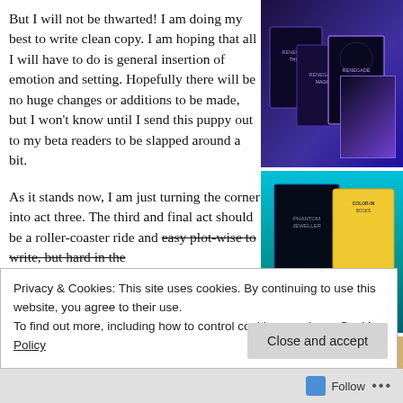But I will not be thwarted!  I am doing my best to write clean copy. I am hoping that all I will have to do is general insertion of emotion and setting. Hopefully there will be no huge changes or additions to be made, but I won't know until I send this puppy out to my beta readers to be slapped around a bit.
[Figure (photo): Photo of fantasy novel book covers (Renegade series) fanned out on a surface]
As it stands now, I am just turning the corner into act three.  The third and final act should be a roller-coaster ride and easy plot-wise to write, but hard in the
[Figure (photo): Photo of a dark fantasy book next to a color-in book with markers on a teal background]
[Figure (photo): Partially visible photo at bottom right, appears to show objects on wooden surface]
Privacy & Cookies: This site uses cookies. By continuing to use this website, you agree to their use.
To find out more, including how to control cookies, see here: Cookie Policy
Close and accept
Follow